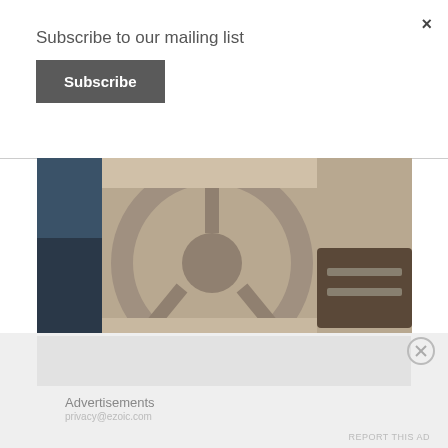×
Subscribe to our mailing list
Subscribe
[Figure (photo): Interior of a car showing steering wheel and dashboard from driver perspective, with a person's arm in blue sleeve visible on the left]
Fun Ways To Unwind After A Tough Day
September 12, 2017 9:25 am
In "Fitness Freak"
Advertisements
REPORT THIS AD